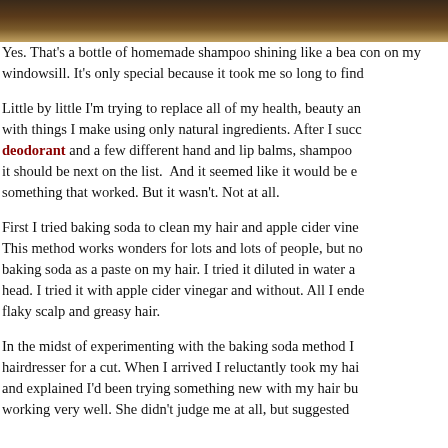[Figure (photo): Top strip of a photograph showing a dark brown wooden windowsill with warm tones]
Yes. That's a bottle of homemade shampoo shining like a beacon on my windowsill. It's only special because it took me so long to find it.
Little by little I'm trying to replace all of my health, beauty and cleaning products with things I make using only natural ingredients. After I successfully made deodorant and a few different hand and lip balms, shampoo seemed like it should be next on the list. And it seemed like it would be easy to find something that worked. But it wasn't. Not at all.
First I tried baking soda to clean my hair and apple cider vinegar as a rinse. This method works wonders for lots and lots of people, but not for me. I tried baking soda as a paste on my hair. I tried it diluted in water and poured over my head. I tried it with apple cider vinegar and without. All I ended up with was a flaky scalp and greasy hair.
In the midst of experimenting with the baking soda method I went to my hairdresser for a cut. When I arrived I reluctantly took my hair out of its bun and explained I'd been trying something new with my hair but it hadn't been working very well. She didn't judge me at all, but suggested